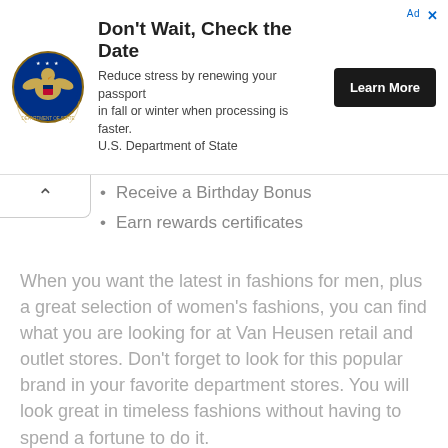[Figure (other): Advertisement banner: U.S. Department of State passport renewal ad with seal logo, headline 'Don't Wait, Check the Date', body text, and a 'Learn More' button.]
Receive a Birthday Bonus
Earn rewards certificates
When you want the latest in fashions for men, plus a great selection of women's fashions, you can find what you are looking for at Van Heusen retail and outlet stores. Don't forget to look for this popular brand in your favorite department stores. You will look great in timeless fashions without having to spend a fortune to do it.